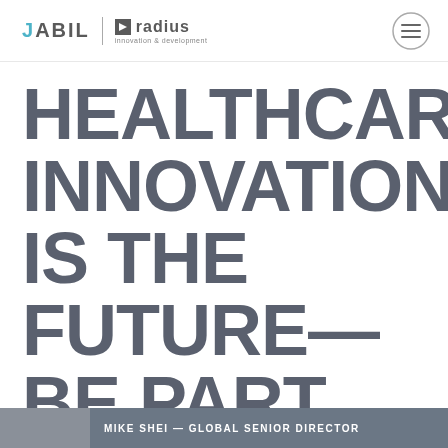JABIL | radius innovation & development
HEALTHCARE INNOVATION IS THE FUTURE— BE PART OF IT
MIKE SHEI — GLOBAL SENIOR DIRECTOR